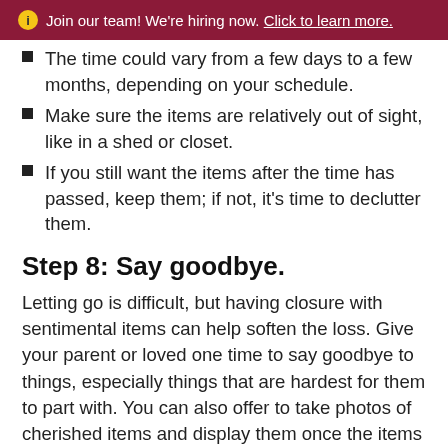ℹ Join our team! We're hiring now. Click to learn more.
The time could vary from a few days to a few months, depending on your schedule.
Make sure the items are relatively out of sight, like in a shed or closet.
If you still want the items after the time has passed, keep them; if not, it's time to declutter them.
Step 8: Say goodbye.
Letting go is difficult, but having closure with sentimental items can help soften the loss. Give your parent or loved one time to say goodbye to things, especially things that are hardest for them to part with. You can also offer to take photos of cherished items and display them once the items are decluttered. It's a nice way to help the memory live on without taking up as much space.